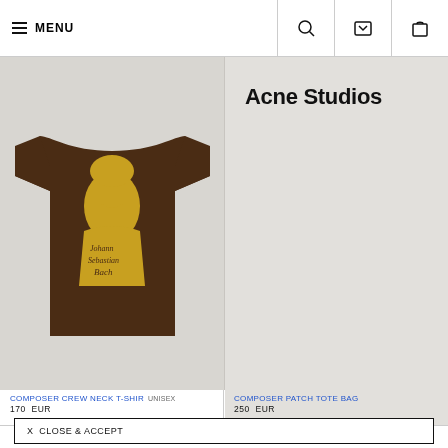MENU
[Figure (photo): Brown t-shirt with Johann Sebastian Bach graphic print on a light grey background. Right side shows Acne Studios brand name text.]
COMPOSER CREW NECK T-SHIRT  UNISEX
170  EUR
COMPOSER PATCH TOTE BAG
250  EUR
WE USE COOKIES TO PROVIDE YOU A PERSONALISED SHOPPING EXPERIENCE. TO FIND OUT MORE AND LEARN HOW TO OPT OUT, READ OUR COOKIE POLICY
X  CLOSE & ACCEPT